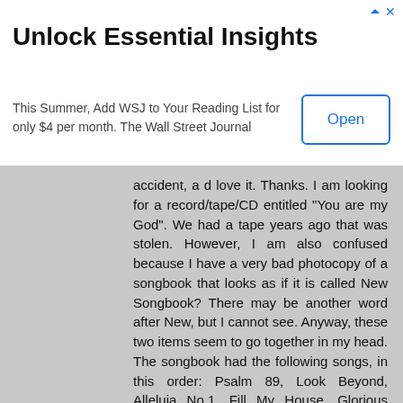[Figure (other): Advertisement banner for Wall Street Journal: 'Unlock Essential Insights' with 'Open' button and close/arrow icons]
accident, a d love it. Thanks. I am looking for a record/tape/CD entitled "You are my God". We had a tape years ago that was stolen. However, I am also confused because I have a very bad photocopy of a songbook that looks as if it is called New Songbook? There may be another word after New, but I cannot see. Anyway, these two items seem to go together in my head. The songbook had the following songs, in this order: Psalm 89, Look Beyond, Alleluia No.1, Fill My House, Glorious God, I am the Bread of Life, I Heard the Lord (call my name), Jacob's Song, Let Trumpets Sound, Psalm 150. Now the last 3 I don't remember, but the first ones I know well, and have found (all?) on this site. So, the question is: do you know where I could find the record/tape/whatever, and do you know where I can find an original version of the songbook, or both? I have Googled like crazy, but